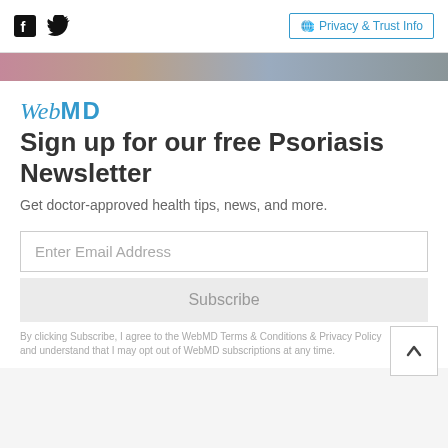Facebook Twitter Privacy & Trust Info
[Figure (photo): Skin close-up image strip, muted tones]
WebMD Sign up for our free Psoriasis Newsletter
Get doctor-approved health tips, news, and more.
Enter Email Address
Subscribe
By clicking Subscribe, I agree to the WebMD Terms & Conditions & Privacy Policy and understand that I may opt out of WebMD subscriptions at any time.